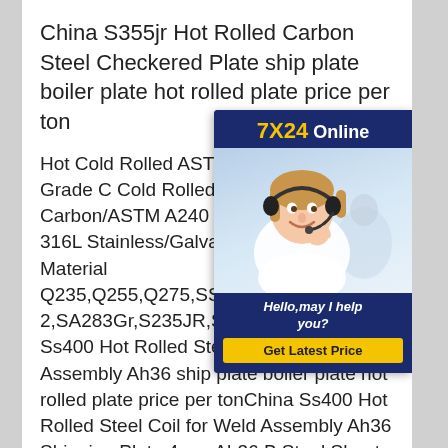China S355jr Hot Rolled Carbon Steel Checkered Plate ship plate boiler plate hot rolled plate price per ton
Hot Cold Rolled ASTM A283 A36 A285 Grade C Cold Rolled/ Hot R Carbon/ASTM A240 304 316 321 2205 316L Stainless/Galvanized Plate Price Material Q235,Q255,Q275,SS400,A36,SM 2,SA283Gr,S235JR,S235J0,S235 China Ss400 Hot Rolled Steel Coil for Weld Assembly Ah36 ship plate boiler plate hot rolled plate price per tonChina Ss400 Hot Rolled Steel Coil for Weld Assembly Ah36 Shipping Plate 4mm Ah36 B Steel Sheet, Find details about China Ss400 Steel Plate, Ss400 Steel Sheet
[Figure (photo): Online chat widget showing '7X24 Online' header in yellow and white on dark blue background, photo of a woman wearing a headset smiling, with text 'Hello,may I help you?' and a yellow 'Get Latest Price' button]